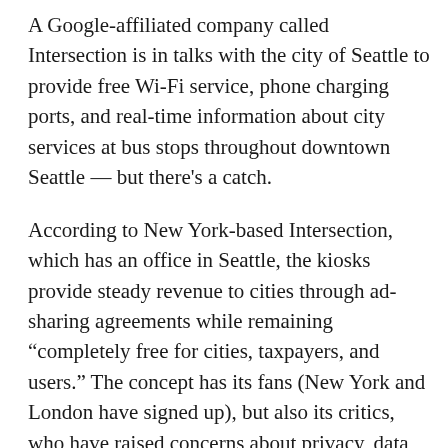A Google-affiliated company called Intersection is in talks with the city of Seattle to provide free Wi-Fi service, phone charging ports, and real-time information about city services at bus stops throughout downtown Seattle — but there's a catch.
According to New York-based Intersection, which has an office in Seattle, the kiosks provide steady revenue to cities through ad-sharing agreements while remaining "completely free for cities, taxpayers, and users." The concept has its fans (New York and London have signed up), but also its critics, who have raised concerns about privacy, data sharing, and visual clutter on city streets.
The deal, proponents say, would provide the city